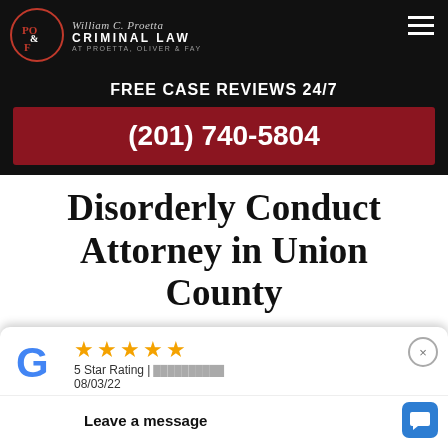[Figure (logo): PO&F Proetta Oliver & Fay Criminal Law logo with circular emblem on black background]
FREE CASE REVIEWS 24/7
(201) 740-5804
Disorderly Conduct Attorney in Union County
[Figure (screenshot): Google reviews widget showing 5 star rating dated 08/03/22, with Leave a message chat button]